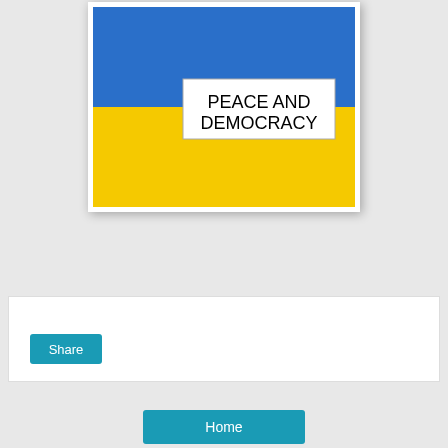[Figure (illustration): Ukrainian flag (blue top half, yellow bottom half) with a white rectangle overlay containing the text 'PEACE AND DEMOCRACY' in black letters]
Share
Home